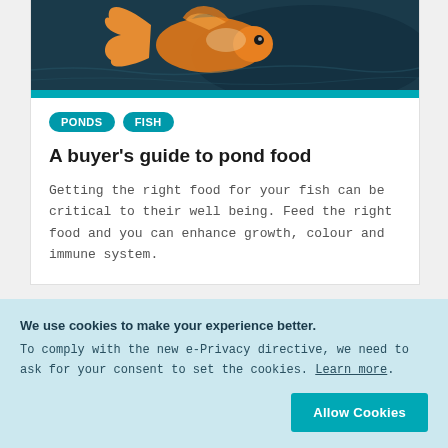[Figure (photo): Goldfish with orange and white fins swimming against a dark teal/blue background]
PONDS
FISH
A buyer's guide to pond food
Getting the right food for your fish can be critical to their well being. Feed the right food and you can enhance growth, colour and immune system.
We use cookies to make your experience better. To comply with the new e-Privacy directive, we need to ask for your consent to set the cookies. Learn more.